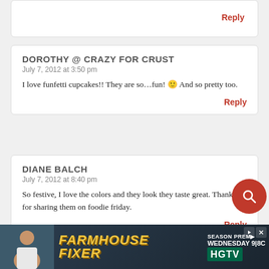Reply
DOROTHY @ CRAZY FOR CRUST
July 7, 2012 at 3:50 pm
I love funfetti cupcakes!! They are so…fun! 🙂 And so pretty too.
Reply
DIANE BALCH
July 7, 2012 at 8:40 pm
So festive, I love the colors and they look they taste great. Thanks for sharing them on foodie friday.
Reply
[Figure (screenshot): HGTV Farmhouse Fixer advertisement banner at the bottom of the page]
JO